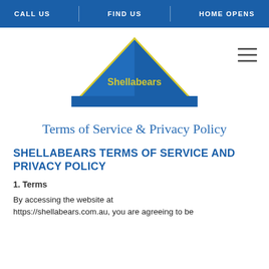CALL US | FIND US | HOME OPENS
[Figure (logo): Shellabears logo: a blue triangle with yellow outline and yellow text 'Shellabears' in the center, with a blue band behind the base of the triangle.]
Terms of Service & Privacy Policy
SHELLABEARS TERMS OF SERVICE AND PRIVACY POLICY
1. Terms
By accessing the website at https://shellabears.com.au, you are agreeing to be